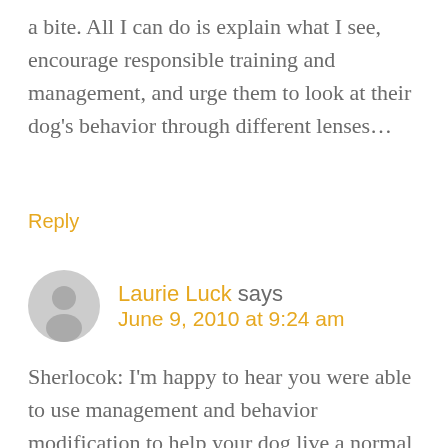a bite. All I can do is explain what I see, encourage responsible training and management, and urge them to look at their dog's behavior through different lenses…
Reply
Laurie Luck says
June 9, 2010 at 9:24 am
Sherlocok: I'm happy to hear you were able to use management and behavior modification to help your dog live a normal life. It's rewarding to see your